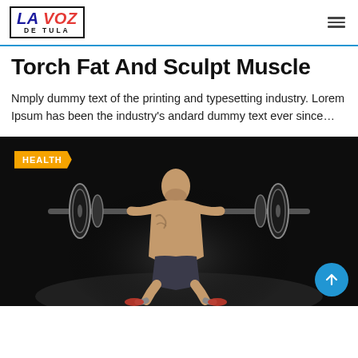LA VOZ DE TULA
Torch Fat And Sculpt Muscle
Nmply dummy text of the printing and typesetting industry. Lorem Ipsum has been the industry's andard dummy text ever since…
[Figure (photo): A tattooed shirtless man performing a barbell squat in a dark gym setting. An orange 'HEALTH' badge is overlaid in the top left. A blue circular scroll-up button appears in the bottom right.]